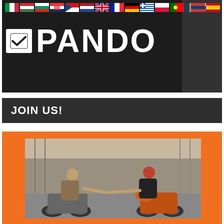[Figure (photo): PANDO brand banner with European country flags at top and white PANDO logo with checkbox icon on dark background]
JOIN US!
[Figure (photo): Two motorcyclists in helmets on vintage motorcycles shaking hands on a street, in an orange-bordered frame]